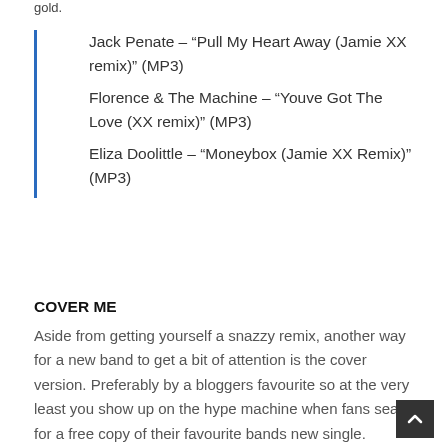gold.
Jack Penate – “Pull My Heart Away (Jamie XX remix)” (MP3)
Florence & The Machine – “Youve Got The Love (XX remix)” (MP3)
Eliza Doolittle – “Moneybox (Jamie XX Remix)” (MP3)
COVER ME
Aside from getting yourself a snazzy remix, another way for a new band to get a bit of attention is the cover version. Preferably by a bloggers favourite so at the very least you show up on the hype machine when fans search for a free copy of their favourite bands new single.